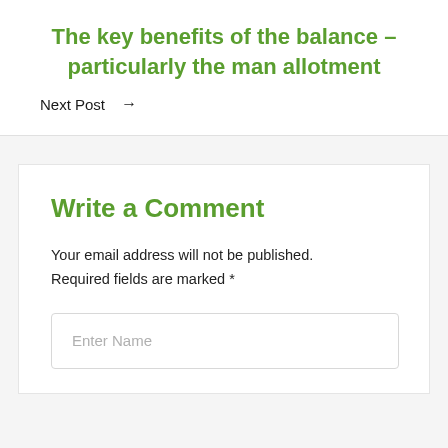The key benefits of the balance – particularly the man allotment
Next Post →
Write a Comment
Your email address will not be published. Required fields are marked *
Enter Name